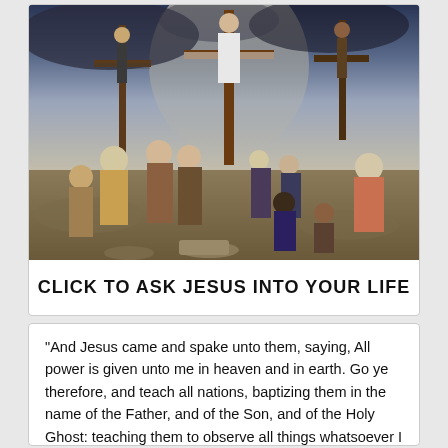[Figure (illustration): Painting depicting the crucifixion of Jesus Christ with two other crucified figures on crosses against a dramatic cloudy sky, surrounded by a crowd of people in ancient Middle Eastern garments]
CLICK TO ASK JESUS INTO YOUR LIFE
“And Jesus came and spake unto them, saying, All power is given unto me in heaven and in earth. Go ye therefore, and teach all nations, baptizing them in the name of the Father, and of the Son, and of the Holy Ghost: teaching them to observe all things whatsoever I have commanded you; and